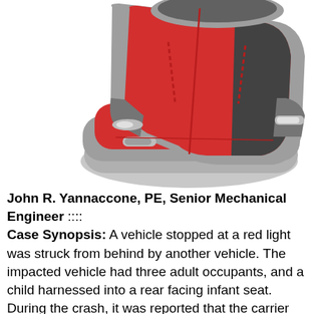[Figure (illustration): A red and gray child car seat (infant/booster seat) illustrated from a front-angle perspective, showing the padded red seat cushion, gray frame, armrests, and harness attachments.]
John R. Yannaccone, PE, Senior Mechanical Engineer :::: Case Synopsis: A vehicle stopped at a red light was struck from behind by another vehicle. The impacted vehicle had three adult occupants, and a child harnessed into a rear facing infant seat. During the crash, it was reported that the carrier portion of the infant seat (with the child in it) separated from the installed base. As a result, the child and